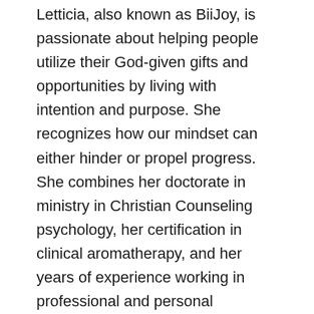Letticia, also known as BiiJoy, is passionate about helping people utilize their God-given gifts and opportunities by living with intention and purpose. She recognizes how our mindset can either hinder or propel progress. She combines her doctorate in ministry in Christian Counseling psychology, her certification in clinical aromatherapy, and her years of experience working in professional and personal development to create individualized J.O.Y. Strategy Plans that incorporate spiritual growth in Christ, essential oils, and lifestyle changes to help people live out their joyful purpose. Her strong communication skills, loyalty, empathetic nature, and joyful demeanor serve as an avenue for building trust and openness with her clients. Letticia is a wife to her best friend for over 20 years, mom of six, and homeschool educator. She enjoys spending time with her family, sampling exotic teas, worshiping through the art of dance, hand lettering Bible verses and inspirational